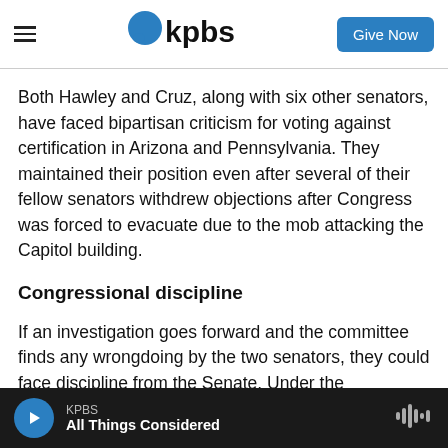KPBS — Give Now
Both Hawley and Cruz, along with six other senators, have faced bipartisan criticism for voting against certification in Arizona and Pennsylvania. They maintained their position even after several of their fellow senators withdrew objections after Congress was forced to evacuate due to the mob attacking the Capitol building.
Congressional discipline
If an investigation goes forward and the committee finds any wrongdoing by the two senators, they could face discipline from the Senate. Under the
KPBS — All Things Considered